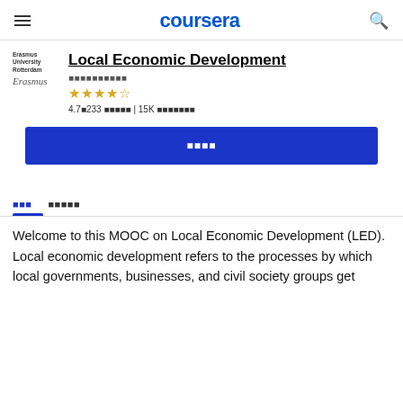coursera
[Figure (logo): Erasmus University Rotterdam logo with stylized script text]
Local Economic Development
■■■■■■■■■■ (subtitle/institution text in non-Latin script)
[Figure (other): 4.7 star rating with 5 gold stars (4 full, 1 half)]
4.7■233 ■■■■■ | 15K ■■■■■■■
■■■■ (Enroll button)
■■■    ■■■■■ (tab navigation)
Welcome to this MOOC on Local Economic Development (LED). Local economic development refers to the processes by which local governments, businesses, and civil society groups get together to join in a common enterprise to combine their diverse…